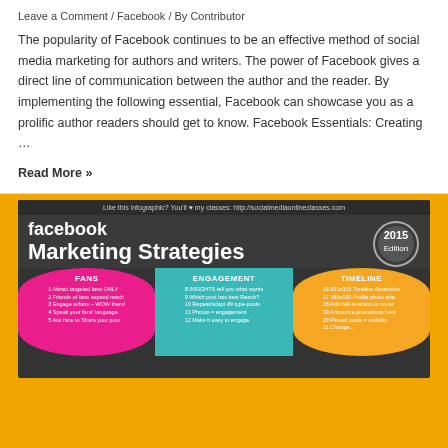Leave a Comment / Facebook / By Contributor
The popularity of Facebook continues to be an effective method of social media marketing for authors and writers. The power of Facebook gives a direct line of communication between the author and the reader. By implementing the following essential, Facebook can showcase you as a prolific author readers should get to know. Facebook Essentials: Creating …
Read More »
[Figure (infographic): Facebook Marketing Strategies 2015 Edition infographic showing three overlapping circles for FANS, ENGAGEMENT, and TIMELINE with numbered tips in each section.]